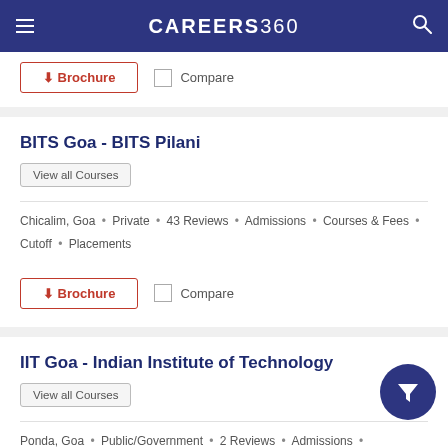CAREERS360
Brochure | Compare
BITS Goa - BITS Pilani
View all Courses
Chicalim, Goa • Private • 43 Reviews • Admissions • Courses & Fees • Cutoff • Placements
Brochure | Compare
IIT Goa - Indian Institute of Technology
View all Courses
Ponda, Goa • Public/Government • 2 Reviews • Admissions • Courses & Fees • Cutoff • Placements